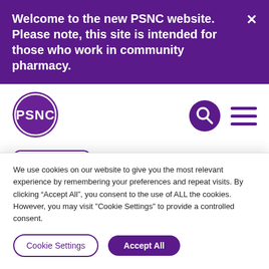Welcome to the new PSNC website. Please note, this site is intended for those who work in community pharmacy.
[Figure (logo): PSNC logo — purple oval with white text 'PSNC']
[Figure (other): Search icon (magnifying glass) and hamburger menu icon in purple]
Back to results
Services Database
We use cookies on our website to give you the most relevant experience by remembering your preferences and repeat visits. By clicking "Accept All", you consent to the use of ALL the cookies. However, you may visit "Cookie Settings" to provide a controlled consent.
Cookie Settings
Accept All